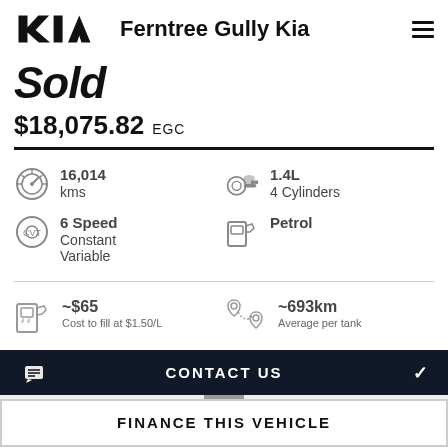[Figure (logo): Kia logo and Ferntree Gully Kia dealer name with hamburger menu]
Sold
$18,075.82 EGC
16,014 kms
1.4L 4 Cylinders
6 Speed Constant Variable
Petrol
~$65
Cost to fill at $1.50/L
~693km
Average per tank
CONTACT US
FINANCE THIS VEHICLE